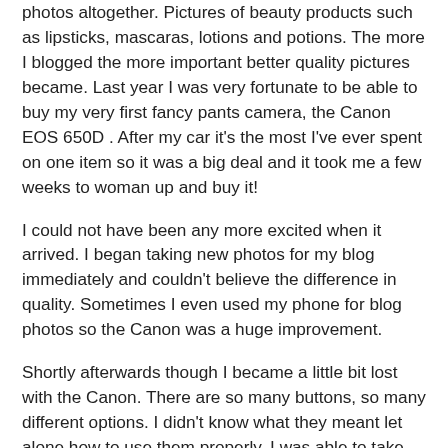photos altogether. Pictures of beauty products such as lipsticks, mascaras, lotions and potions. The more I blogged the more important better quality pictures became. Last year I was very fortunate to be able to buy my very first fancy pants camera, the Canon EOS 650D . After my car it's the most I've ever spent on one item so it was a big deal and it took me a few weeks to woman up and buy it!
I could not have been any more excited when it arrived. I began taking new photos for my blog immediately and couldn't believe the difference in quality. Sometimes I even used my phone for blog photos so the Canon was a huge improvement.
Shortly afterwards though I became a little bit lost with the Canon. There are so many buttons, so many different options. I didn't know what they meant let alone how to use them properly. I was able to take photos and use them for blog posts but I knew I wasn't using the camera to it's full potential.
That's were Dublin Photography School comes in. They offer